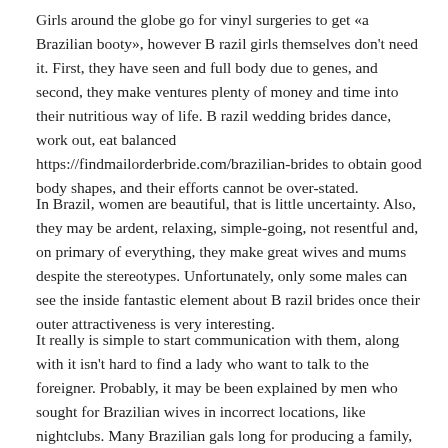Girls around the globe go for vinyl surgeries to get «a Brazilian booty», however B razil girls themselves don't need it. First, they have seen and full body due to genes, and second, they make ventures plenty of money and time into their nutritious way of life. B razil wedding brides dance, work out, eat balanced https://findmailorderbride.com/brazilian-brides to obtain good body shapes, and their efforts cannot be over-stated.
In Brazil, women are beautiful, that is little uncertainty. Also, they may be ardent, relaxing, simple-going, not resentful and, on primary of everything, they make great wives and mums despite the stereotypes. Unfortunately, only some males can see the inside fantastic element about B razil brides once their outer attractiveness is very interesting.
It really is simple to start communication with them, along with it isn't hard to find a lady who want to talk to the foreigner. Probably, it may be been explained by men who sought for Brazilian wives in incorrect locations, like nightclubs. Many Brazilian gals long for producing a family, bringing up youngsters, and find them between mail buy brides, even so not ladies who're thinking about hookups. Even if a Brazilian new bride is a nicely-endowed black woman or maybe a model-like white woman, her physique is robust and fit.